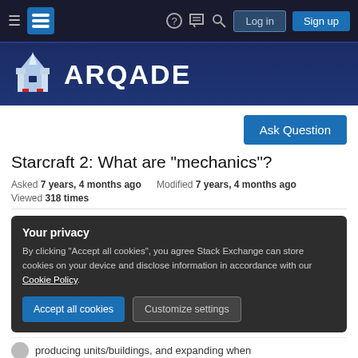Arqade navigation bar with hamburger menu, logo, help, chat, search, Log in, Sign up
[Figure (logo): Arqade logo: pixel-art castle/spaceship icon and ARQADE wordmark in white on dark blue background]
Ask Question
Starcraft 2: What are "mechanics"?
Asked 7 years, 4 months ago   Modified 7 years, 4 months ago
Viewed 318 times
Your privacy
By clicking "Accept all cookies", you agree Stack Exchange can store cookies on your device and disclose information in accordance with our Cookie Policy.
Accept all cookies   Customize settings
producing units/buildings, and expanding when